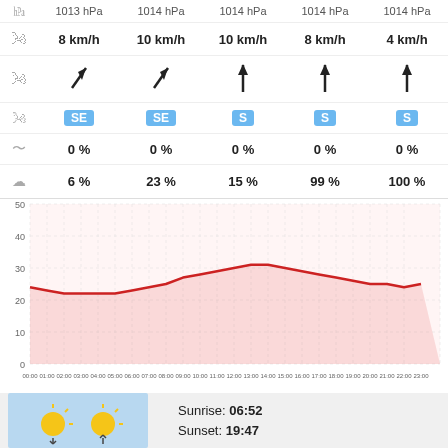| Icon | Col1 | Col2 | Col3 | Col4 | Col5 |
| --- | --- | --- | --- | --- | --- |
| pressure | 1013 hPa | 1014 hPa | 1014 hPa | 1014 hPa | 1014 hPa |
| wind speed | 8 km/h | 10 km/h | 10 km/h | 8 km/h | 4 km/h |
| wind direction arrow | ↖ | ↖ | ↑ | ↑ | ↑ |
| wind direction label | SE | SE | S | S | S |
| precipitation | 0 % | 0 % | 0 % | 0 % | 0 % |
| cloud cover | 6 % | 23 % | 15 % | 99 % | 100 % |
[Figure (line-chart): Temperature over 24 hours]
Sunrise: 06:52
Sunset: 19:47